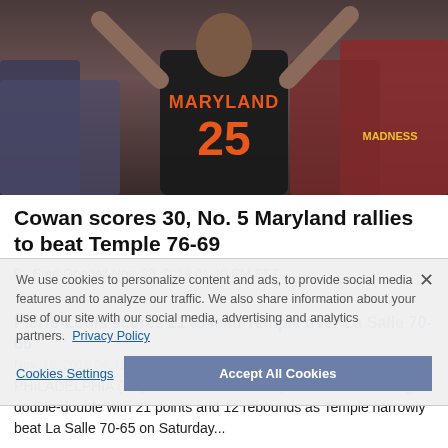[Figure (photo): Basketball player wearing Maryland #25 jersey celebrating with arms raised, crowd in background]
Cowan scores 30, No. 5 Maryland rallies to beat Temple 76-69
By Fred Goodall Nov. 28, 2019 01:49 PM EST
Pierre-Louis scores 21 to lead Temple over La Salle 70-65
Nov. 16, 2019 04:31 PM EST
PHILADELPHIA (AP) — Nate Pierre-Louis posted his third straight double-double with 21 points and 12 rebounds as Temple narrowly beat La Salle 70-65 on Saturday...
We use cookies to personalize content and ads, to provide social media features and to analyze our traffic. We also share information about your use of our site with our social media, advertising and analytics partners. Privacy Policy
Cookies Settings   Accept All Cookies